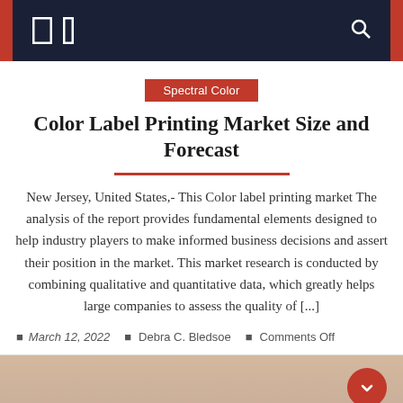Spectral Color — navigation bar
Spectral Color
Color Label Printing Market Size and Forecast
New Jersey, United States,- This Color label printing market The analysis of the report provides fundamental elements designed to help industry players to make informed business decisions and assert their position in the market. This market research is conducted by combining qualitative and quantitative data, which greatly helps large companies to assess the quality of [...]
March 12, 2022  Debra C. Bledsoe  Comments Off
[Figure (photo): Partial image of a person at the bottom of the page]